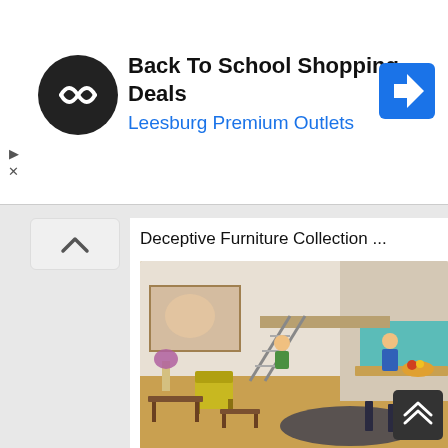[Figure (screenshot): Ad banner: circular black logo with double arrow icon, bold title 'Back To School Shopping Deals', blue subtitle 'Leesburg Premium Outlets', blue diamond navigation arrow icon on right, small play and X controls on left side]
Deceptive Furniture Collection ...
[Figure (photo): Interior photo of a renovated row house: open-plan living space with staircase, mezzanine level, yellow armchair, purple flowers, wooden floors, kitchen with teal backsplash, two people visible on staircase, one person at kitchen counter]
32 Breathtaking Row House Renovation Barcelona That ...